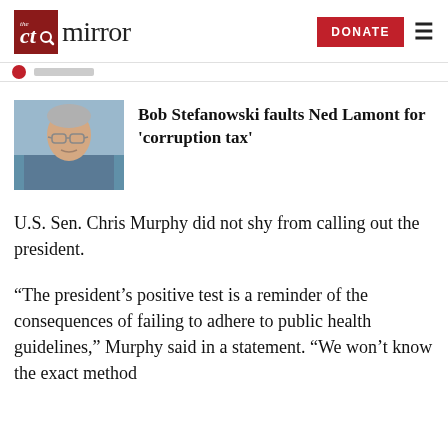The CT Mirror — DONATE
[Figure (photo): Photo of Bob Stefanowski, a middle-aged man with glasses outdoors]
Bob Stefanowski faults Ned Lamont for 'corruption tax'
U.S. Sen. Chris Murphy did not shy from calling out the president.
“The president’s positive test is a reminder of the consequences of failing to adhere to public health guidelines,” Murphy said in a statement. “We won’t know the exact method